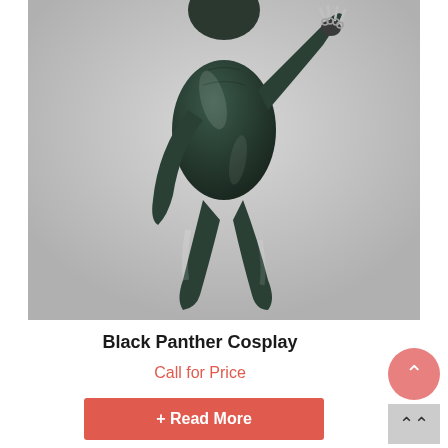[Figure (photo): A person wearing a black shiny full-body Black Panther cosplay suit with silver claw accessories on one hand, posed in an action stance against a light gray background. The image shows the body from just above the head area down to the feet.]
Black Panther Cosplay
Call for Price
+ Read More